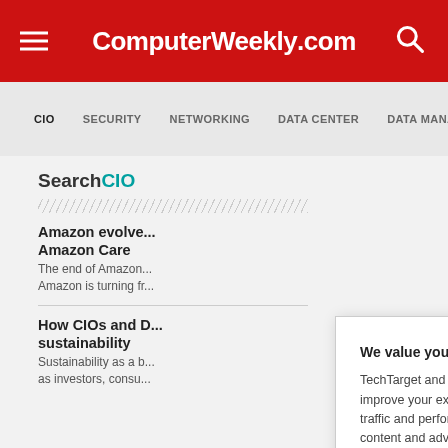ComputerWeekly.com
CIO  SECURITY  NETWORKING  DATA CENTER  DATA MANAGEMENT
SearchCIO
Amazon evolves Amazon Care
The end of Amazon... Amazon is turning fr...
How CIOs and D... sustainability
Sustainability as a b... as investors, consu...
We value your privacy. TechTarget and its partners employ cookies to improve your experience on our site, to analyze traffic and performance, and to serve personalized content and advertising that are relevant to your professional interests. You can manage your settings at any time. Please view our Privacy Policy for more information